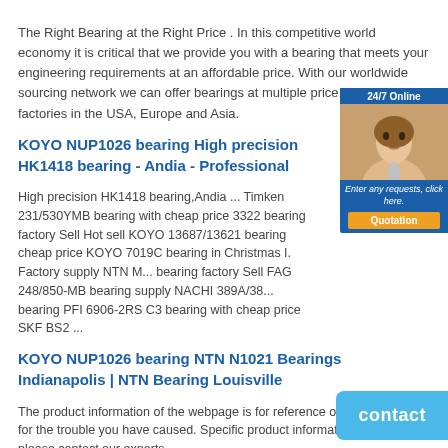The Right Bearing at the Right Price . In this competitive world economy it is critical that we provide you with a bearing that meets your engineering requirements at an affordable price. With our worldwide sourcing network we can offer bearings at multiple price points from factories in the USA, Europe and Asia.
KOYO NUP1026 bearing High precision HK1418 bearing - Andia - Professional
High precision HK1418 bearing,Andia ... Timken 231/530YMB bearing with cheap price 3322 bearing factory Sell Hot sell KOYO 13687/13621 bearing cheap price KOYO 7019C bearing in Christmas I. Factory supply NTN M... bearing factory Sell FAG 248/850-MB bearing supply NACHI 389A/38... bearing PFI 6906-2RS C3 bearing with cheap price SKF BS2 ...
KOYO NUP1026 bearing NTN N1021 Bearings Indianapolis | NTN Bearing Louisville
The product information of the webpage is for reference only. I apologize for the trouble you have caused. Specific product information, prices, please contact our experts,
KOYO NUP1026 bearing RNA5910 KOYO Needle Roller Bearing *72mm*30mm bearing
53306U bearing KOYO Japan -53306U. rna5909 nsk 532060 koyo cfe24v iko ...